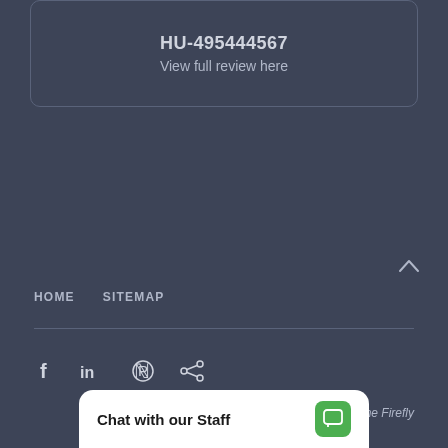HU-495444567
View full review here
HOME   SITEMAP
[Figure (infographic): Social media icons: Facebook (f), LinkedIn (in), Pinterest (P), Share icon]
Powered By One Firefly
Chat with our Staff